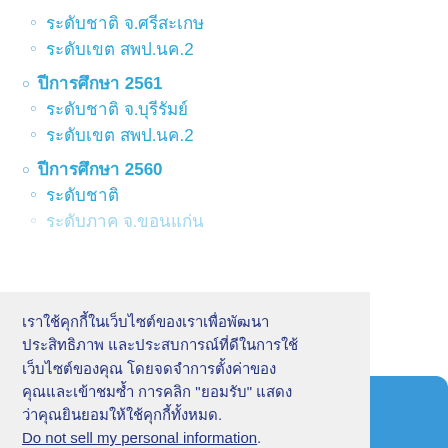ระดับชาติ จ.ศรีสะเกษ
ระดับเขต สพป.นค.2
ปีการศึกษา 2561
ระดับชาติ จ.บุรีรัมย์
ระดับเขต สพป.นค.2
ปีการศึกษา 2560
ระดับชาติ
ระดับภาค จ.ขอนแก่น
เราใช้คุกกี้ในเว็บไซต์ของเราเพื่อพัฒนา ประสิทธิภาพ และประสบการณ์ที่ดีในการใช้เว็บไซต์ของคุณ โดยจดจำการตั้งค่าของคุณและเข้าชมซ้ำ การคลิก "ยอมรับ" แสดงว่าคุณยินยอมให้ใช้คุกกี้ทั้งหมด. Do not sell my personal information.